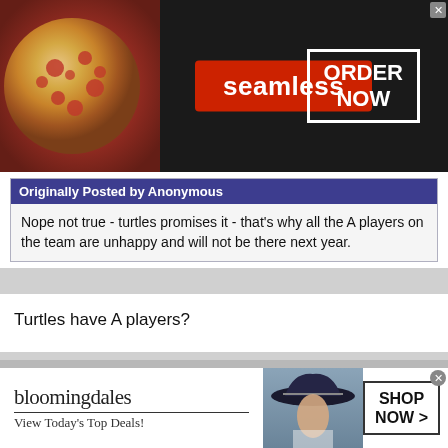[Figure (screenshot): Seamless food delivery advertisement banner with pizza image, red Seamless logo badge, and ORDER NOW button in white box on dark background]
Originally Posted by Anonymous
Nope not true - turtles promises it - that's why all the A players on the team are unhappy and will not be there next year.
Turtles have A players?
Anonymous #380239
Anonymous
Unregistered
Originally Posted by Anonymous
[Figure (screenshot): Bloomingdale's advertisement banner with logo, 'View Today's Top Deals!' tagline, model with hat, and SHOP NOW button]